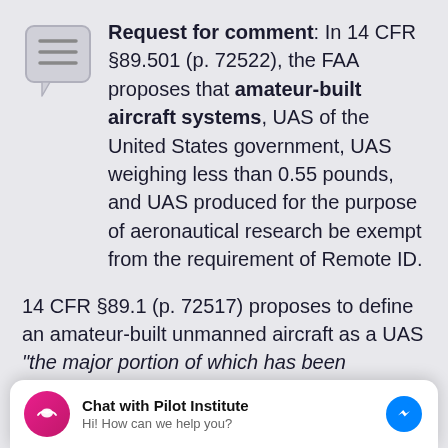Request for comment: In 14 CFR §89.501 (p. 72522), the FAA proposes that amateur-built aircraft systems, UAS of the United States government, UAS weighing less than 0.55 pounds, and UAS produced for the purpose of aeronautical research be exempt from the requirement of Remote ID.
14 CFR §89.1 (p. 72517) proposes to define an amateur-built unmanned aircraft as a UAS "the major portion of which has been ... their own education or recreation." Footnote
[Figure (other): Chat with Pilot Institute widget overlay at the bottom of the page. Shows a pink circular logo with a pilot icon, bold title 'Chat with Pilot Institute', subtitle 'Hi! How can we help you?', and a blue Messenger icon on the right.]